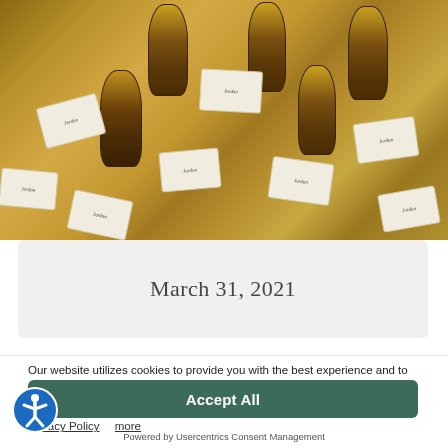[Figure (photo): Overhead view of several Jordan winery bottles with golden caps and illustrated labels, surrounded by scattered wine label cards on a light surface.]
March 31, 2021
Our website utilizes cookies to provide you with the best experience and to analyze performance and traffic. By continuing to use this site, you consent to our Terms of Use and Privacy policies.
Privacy Policy   more
Accept All
Powered by Usercentrics Consent Management